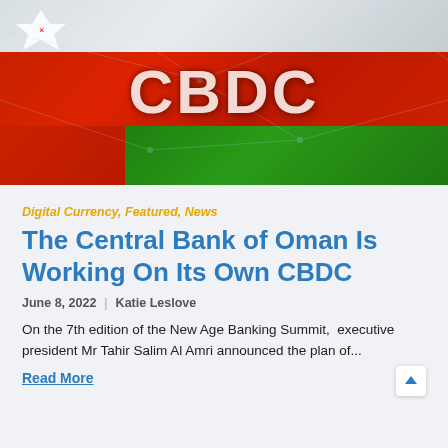[Figure (photo): Hero image showing the flag of Oman (white, red, and green horizontal stripes with emblem) overlaid with large white text 'CBDC' and network/blockchain line graphics in the background.]
Digital Currency, Featured, News
The Central Bank of Oman Is Working On Its Own CBDC
June 8, 2022 | Katie Leslove
On the 7th edition of the New Age Banking Summit,  executive president Mr Tahir Salim Al Amri announced the plan of...
Read More